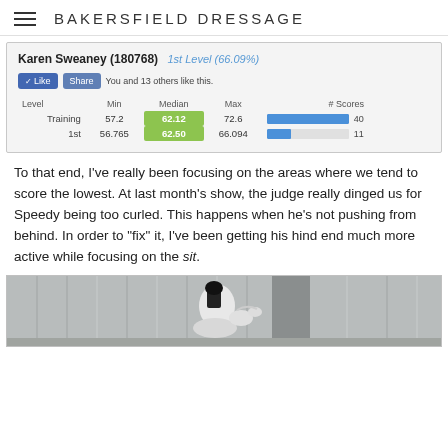BAKERSFIELD DRESSAGE
[Figure (screenshot): Screenshot of dressage score tracking app showing Karen Sweaney (180768) 1st Level (66.09%). Includes Like/Share buttons, and a table with Training level (Min 57.2, Median 62.12, Max 72.6, 40 scores) and 1st level (Min 56.765, Median 62.50, Max 66.094, 11 scores) with blue bar indicators.]
To that end, I've really been focusing on the areas where we tend to score the lowest. At last month's show, the judge really dinged us for Speedy being too curled. This happens when he's not pushing from behind. In order to "fix" it, I've been getting his hind end much more active while focusing on the sit.
[Figure (photo): Photo of a rider on a white horse in a dressage arena, with a grey corrugated metal building in the background. The rider is wearing a black helmet and dark top.]